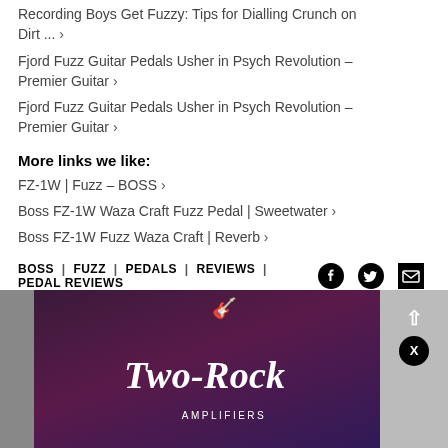Recording Boys Get Fuzzy: Tips for Dialling Crunch on Dirt ... ›
Fjord Fuzz Guitar Pedals Usher in Psych Revolution - Premier Guitar ›
Fjord Fuzz Guitar Pedals Usher in Psych Revolution - Premier Guitar ›
More links we like:
FZ-1W | Fuzz - BOSS ›
Boss FZ-1W Waza Craft Fuzz Pedal | Sweetwater ›
Boss FZ-1W Fuzz Waza Craft | Reverb ›
BOSS | FUZZ | PEDALS | REVIEWS | PEDAL REVIEWS
[Figure (screenshot): Two-Rock Amplifiers advertisement banner with dark purple gradient background, script logo text 'Two-Rock' and subtitle 'AMPLIFIERS', with a scroll-up arrow and close button overlay on right side]